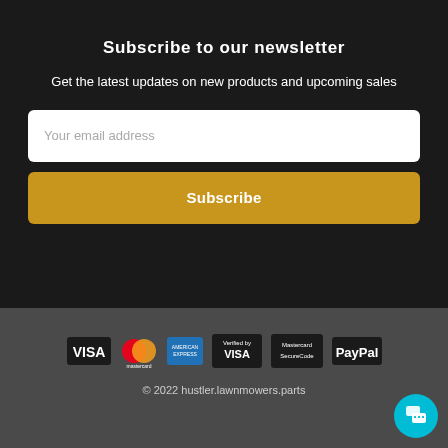Subscribe to our newsletter
Get the latest updates on new products and upcoming sales
[Figure (screenshot): Email input field with placeholder text 'Your email address' on white background with rounded corners]
Subscribe
[Figure (logo): Payment logos: VISA, Mastercard, American Express, Verified by VISA, Mastercard SecureCode, PayPal]
© 2022 hustler.lawnmowers.parts